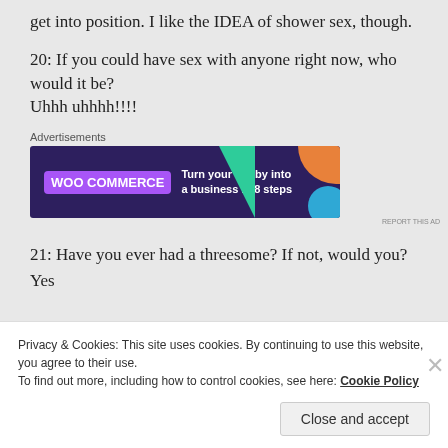get into position. I like the IDEA of shower sex, though.
20: If you could have sex with anyone right now, who would it be?
Uhhh uhhhh!!!!
[Figure (screenshot): WooCommerce advertisement banner: purple background with teal triangle, orange shape, blue circle. Text reads 'Turn your hobby into a business in 8 steps']
21: Have you ever had a threesome? If not, would you?
Yes
Privacy & Cookies: This site uses cookies. By continuing to use this website, you agree to their use.
To find out more, including how to control cookies, see here: Cookie Policy
Close and accept